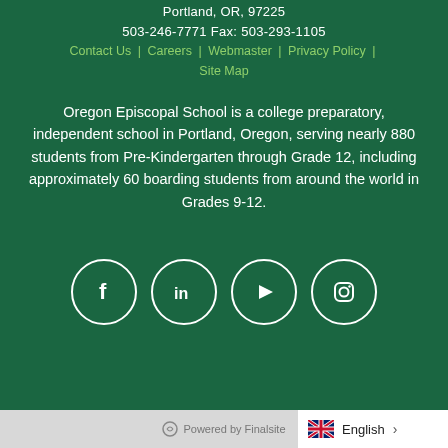Portland, OR, 97225
503-246-7771 Fax: 503-293-1105
Contact Us | Careers | Webmaster | Privacy Policy | Site Map
Oregon Episcopal School is a college preparatory, independent school in Portland, Oregon, serving nearly 880 students from Pre-Kindergarten through Grade 12, including approximately 60 boarding students from around the world in Grades 9-12.
[Figure (illustration): Four social media icons in white circles on green background: Facebook, LinkedIn, YouTube, Instagram]
Powered by Finalsite | English